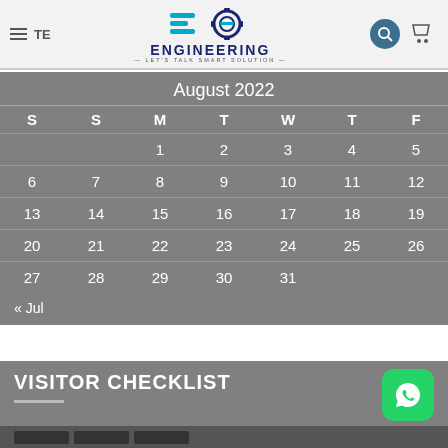TE — BD Engineering: Let's Talk Smart Solution
August 2022
| S | S | M | T | W | T | F |
| --- | --- | --- | --- | --- | --- | --- |
|  |  | 1 | 2 | 3 | 4 | 5 |
| 6 | 7 | 8 | 9 | 10 | 11 | 12 |
| 13 | 14 | 15 | 16 | 17 | 18 | 19 |
| 20 | 21 | 22 | 23 | 24 | 25 | 26 |
| 27 | 28 | 29 | 30 | 31 |  |  |
« Jul
VISITOR CHECKLIST